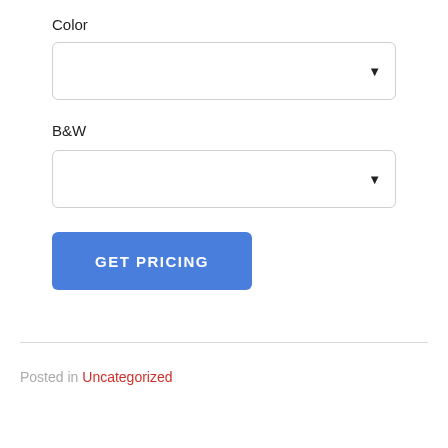Color
[Figure (screenshot): Dropdown select box for Color, empty, with arrow]
B&W
[Figure (screenshot): Dropdown select box for B&W, empty, with arrow]
GET PRICING
Posted in Uncategorized